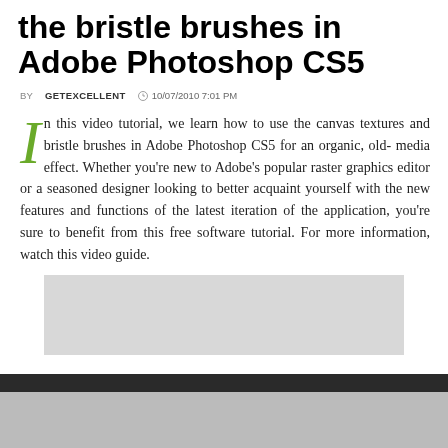the bristle brushes in Adobe Photoshop CS5
BY GETEXCELLENT  10/07/2010 7:01 PM
In this video tutorial, we learn how to use the canvas textures and bristle brushes in Adobe Photoshop CS5 for an organic, old-media effect. Whether you're new to Adobe's popular raster graphics editor or a seasoned designer looking to better acquaint yourself with the new features and functions of the latest iteration of the application, you're sure to benefit from this free software tutorial. For more information, watch this video guide.
[Figure (screenshot): Gray rectangle placeholder for embedded video]